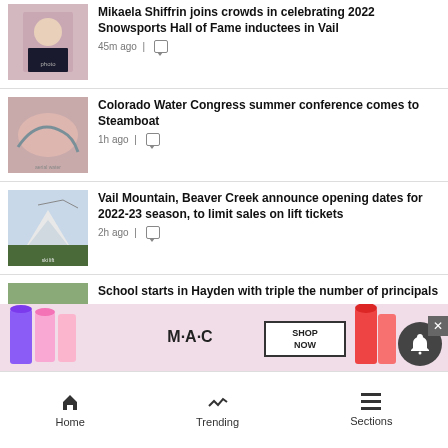Mikaela Shiffrin joins crowds in celebrating 2022 Snowsports Hall of Fame inductees in Vail
45m ago |
Colorado Water Congress summer conference comes to Steamboat
1h ago |
Vail Mountain, Beaver Creek announce opening dates for 2022-23 season, to limit sales on lift tickets
2h ago |
School starts in Hayden with triple the number of principals
[Figure (photo): MAC cosmetics advertisement with lipsticks, SHOP NOW button]
Home | Trending | Sections